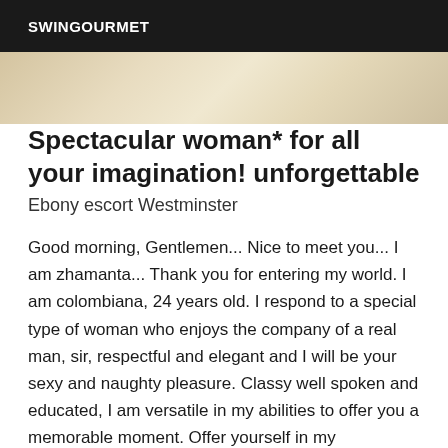SWINGOURMET
[Figure (photo): Partial photo of a woman, cropped, beige/skin tones visible at top of content area]
Spectacular woman* for all your imagination! unforgettable
Ebony escort Westminster
Good morning, Gentlemen... Nice to meet you... I am zhamanta... Thank you for entering my world. I am colombiana, 24 years old. I respond to a special type of woman who enjoys the company of a real man, sir, respectful and elegant and I will be your sexy and naughty pleasure. Classy well spoken and educated, I am versatile in my abilities to offer you a memorable moment. Offer yourself in my captivating presence during a night on the town, where allow me to pamper and respond to all your whims during a sexy night by bringing your most discreet and private fantasies to me, and we will make them come true together. Of course discretion is of the utmost importance and will always be